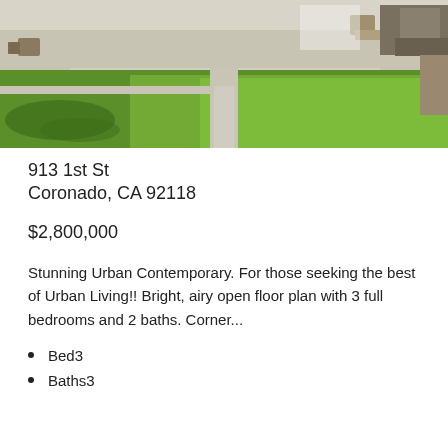[Figure (photo): Outdoor patio and lawn area of a residential property with chairs, tables, stone walls, and lush green grass]
913 1st St
Coronado, CA 92118
$2,800,000
Stunning Urban Contemporary. For those seeking the best of Urban Living!! Bright, airy open floor plan with 3 full bedrooms and 2 baths. Corner...
Bed3
Baths3